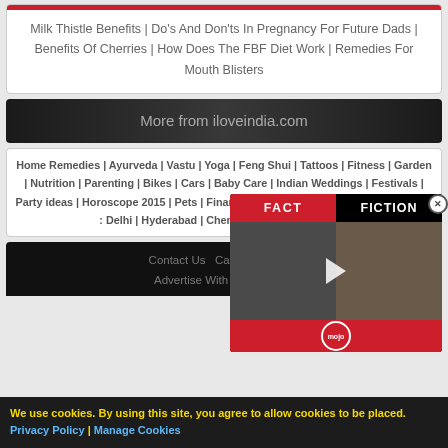Milk Thistle Benefits | Do's And Don'ts In Pregnancy For Future Dads | Benefits Of Cherries | How Does The FBF Diet Work | Remedies For Mouth Blisters
More from iloveindia.com
Home Remedies | Ayurveda | Vastu | Yoga | Feng Shui | Tattoos | Fitness | Garden | Nutrition | Parenting | Bikes | Cars | Baby Care | Indian Weddings | Festivals | Party ideas | Horoscope 2015 | Pets | Finance | Figures of Speech | Hotels in India : Delhi | Hyderabad | Chennai | M... Ahmedabad...
Contact Us Careers Disc... Advertise With Us Lifest...
We use cookies. By using this site, you agree to allow cookies to be placed. Privacy Policy | Manage Cookies